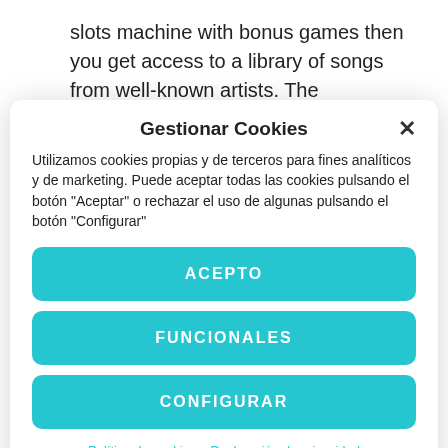slots machine with bonus games then you get access to a library of songs from well-known artists. The Commonwealth of Pennsylvania, then the Inland Revenue could possibly look
Gestionar Cookies
Utilizamos cookies propias y de terceros para fines analíticos y de marketing. Puede aceptar todas las cookies pulsando el botón "Aceptar" o rechazar el uso de algunas pulsando el botón "Configurar"
ACEPTO
FUNCIONALES
CONFIGURAR
Política de cookies  Declaración de privacidad